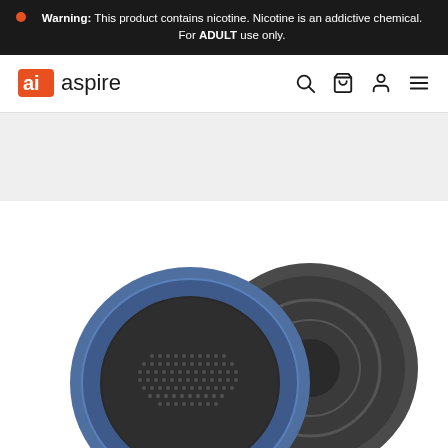Warning: This product contains nicotine. Nicotine is an addictive chemical. For ADULT use only.
[Figure (logo): Aspire brand logo with orange 'ai' icon and 'aspire' wordmark in dark text, navigation bar with search, cart, account, and menu icons]
[Figure (photo): Blue and gray circular vape pod devices (Aspire product) shown from above/angle, partially cropped at bottom of page]